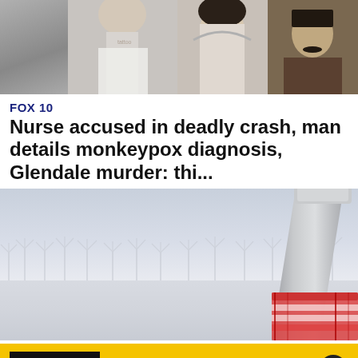[Figure (photo): Top strip showing mugshot-style photos of four individuals: a man with neck tattoos in white shirt, a young woman with dark hair, and a man with a mustache]
FOX 10
Nurse accused in deadly crash, man details monkeypox diagnosis, Glendale murder: thi...
[Figure (photo): Illustration of offshore wind turbines with a large wind turbine tower visible in the foreground, and many smaller turbines in the background over a gray foggy sea]
[Figure (screenshot): Watch Live banner with FOX 10 Phoenix thumbnail and LiveNOW from FOX promo text]
WATCH LIVE
LiveNOW from FOX
Watch a non-stop stream of breaking news, live events and stories across the nation.